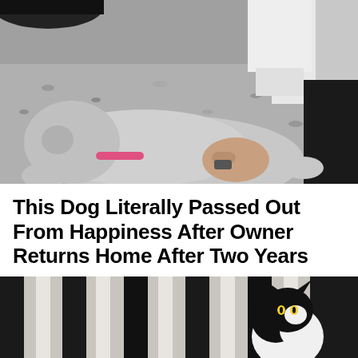[Figure (photo): A gray dog lying on its back on gravel, being petted by a person wearing a white sleeve and dark pants. The dog has a pink collar.]
This Dog Literally Passed Out From Happiness After Owner Returns Home After Two Years
[Figure (photo): A black and white cat sitting near striped curtains or blinds, partially visible at the bottom of the page.]